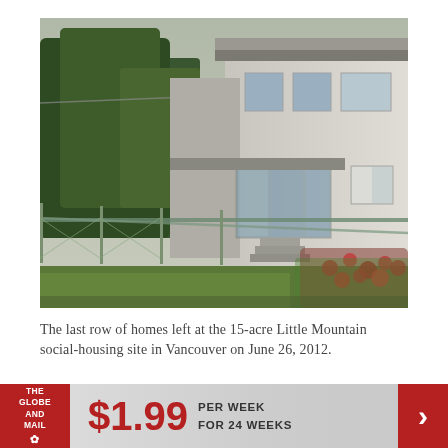[Figure (photo): Photograph of the last row of homes at the 15-acre Little Mountain social-housing site in Vancouver. Shows a two-storey white stucco residential building with trees on the left, a chain-link fence in the foreground, and flowering plants/rose bushes in the lower right.]
The last row of homes left at the 15-acre Little Mountain social-housing site in Vancouver on June 26, 2012.
JOHN LEHMANN/THE GLOBE AND MAIL
[Figure (infographic): Advertisement banner for The Globe and Mail subscription: $1.99 per week for 24 weeks, with The Globe and Mail logo on the left and a red arrow button on the right.]